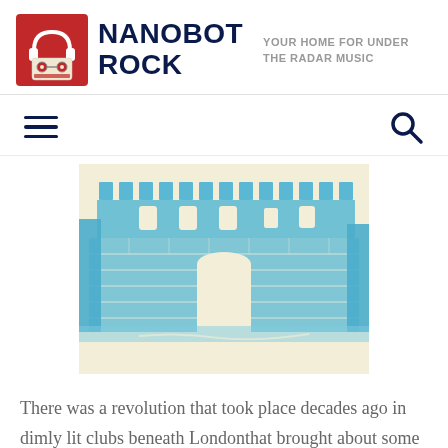NANOBOT ROCK — YOUR HOME FOR UNDER THE RADAR MUSIC
[Figure (logo): Nanobot Rock logo: red square with cassette tape and headphones icon]
[Figure (illustration): Blue monochrome linocut-style illustration of a medieval stone castle or fortress wall with battlements, rendered in cyan/teal ink on cream background]
There was a revolution that took place decades ago in dimly lit clubs beneath Londonthat brought about some